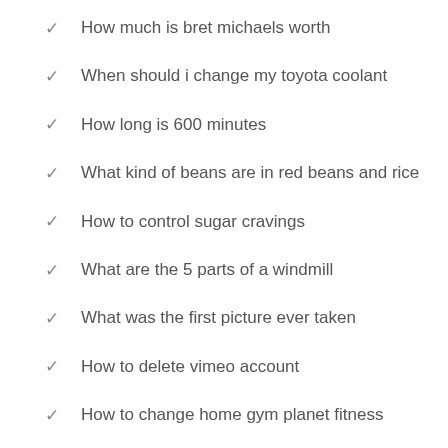How much is bret michaels worth
When should i change my toyota coolant
How long is 600 minutes
What kind of beans are in red beans and rice
How to control sugar cravings
What are the 5 parts of a windmill
What was the first picture ever taken
How to delete vimeo account
How to change home gym planet fitness